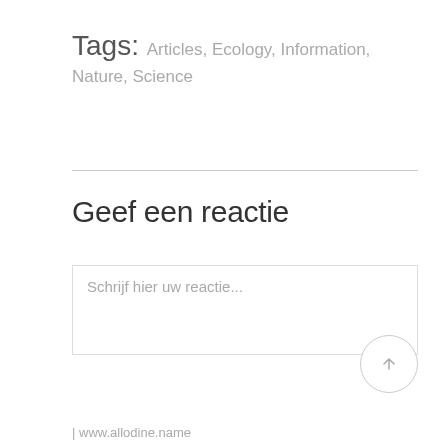Tags: Articles, Ecology, Information, Nature, Science
Geef een reactie
Schrijf hier uw reactie...
| www.allodine.name